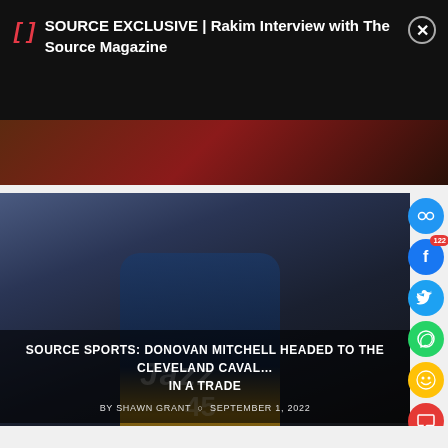SOURCE EXCLUSIVE | Rakim Interview with The Source Magazine
[Figure (photo): Dark reddish promotional image strip]
[Figure (photo): Donovan Mitchell in Utah Jazz #45 jersey looking upward, crowd in background]
SOURCE SPORTS: DONOVAN MITCHELL HEADED TO THE CLEVELAND CAVALIERS IN A TRADE
BY SHAWN GRANT  •  SEPTEMBER 1, 2022